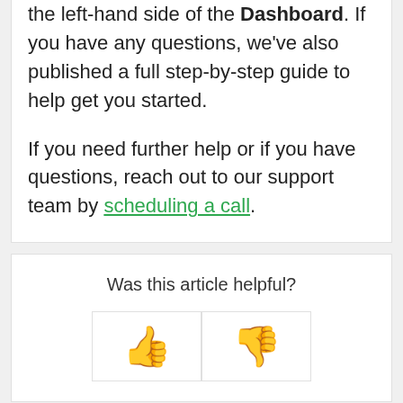the left-hand side of the Dashboard. If you have any questions, we've also published a full step-by-step guide to help get you started.
If you need further help or if you have questions, reach out to our support team by scheduling a call.
Was this article helpful?
[Figure (illustration): Thumbs up emoji (yellow) and thumbs down emoji (yellow) side by side as feedback buttons]